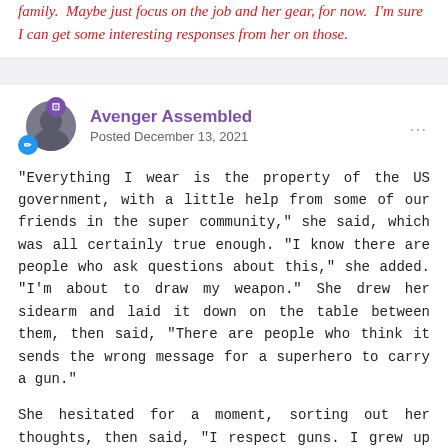family.  Maybe just focus on the job and her gear, for now.  I'm sure I can get some interesting responses from her on those.
Avenger Assembled
Posted December 13, 2021
"Everything I wear is the property of the US government, with a little help from some of our friends in the super community," she said, which was all certainly true enough. "I know there are people who ask questions about this," she added. "I'm about to draw my weapon." She drew her sidearm and laid it down on the table between them, then said, "There are people who think it sends the wrong message for a superhero to carry a gun."
She hesitated for a moment, sorting out her thoughts, then said, "I respect guns. I grew up around them; I've been carrying one on and off for ten years now. This weapon is here to protect other people and myself from the kinds of metahuman threats that don't respond to a few kind words and aren't interested in